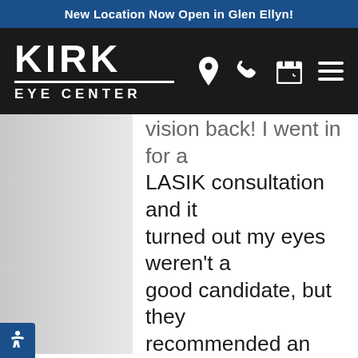New Location Now Open in Glen Ellyn!
[Figure (logo): Kirk Eye Center logo on dark background with navigation icons (location pin, phone, calendar, hamburger menu)]
vision back! I went in for a LASIK consultation and it turned out my eyes weren't a good candidate, but they recommended an ICL instead and now I'll have perfect vision (until cataracts--but that's decades away!). After 22 years in prescription glasses, the only kind I'll need is regular old sunglasses-- a luxury I haven't had since I was 6. From start to finish